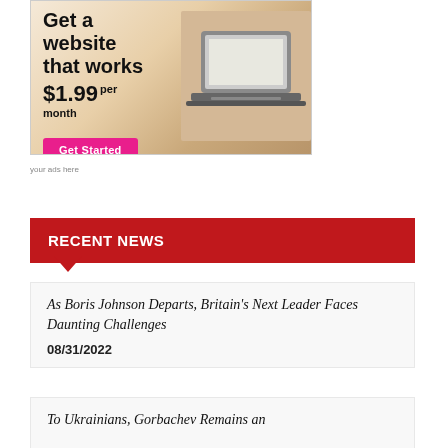[Figure (illustration): Advertisement banner: 'Get a website that works $1.99 per month' with a pink Get Started button and a laptop photo on the right side.]
your ads here
RECENT NEWS
As Boris Johnson Departs, Britain's Next Leader Faces Daunting Challenges
08/31/2022
To Ukrainians, Gorbachev Remains an (Accountable...